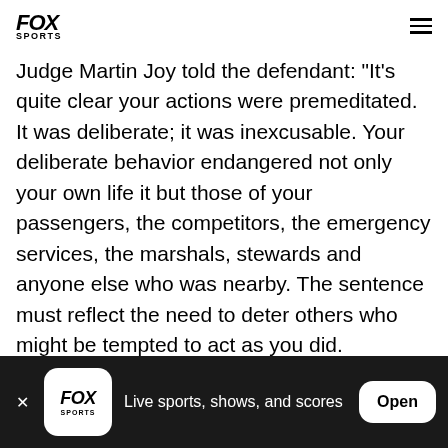FOX SPORTS
Judge Martin Joy told the defendant: "It's quite clear your actions were premeditated. It was deliberate; it was inexcusable. Your deliberate behavior endangered not only your own life it but those of your passengers, the competitors, the emergency services, the marshals, stewards and anyone else who was nearby. The sentence must reflect the need to deter others who might be tempted to act as you did.
FOX SPORTS — Live sports, shows, and scores — Open